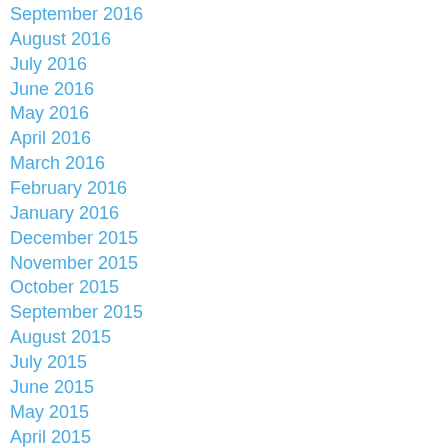September 2016
August 2016
July 2016
June 2016
May 2016
April 2016
March 2016
February 2016
January 2016
December 2015
November 2015
October 2015
September 2015
August 2015
July 2015
June 2015
May 2015
April 2015
March 2015
February 2015
December 2014